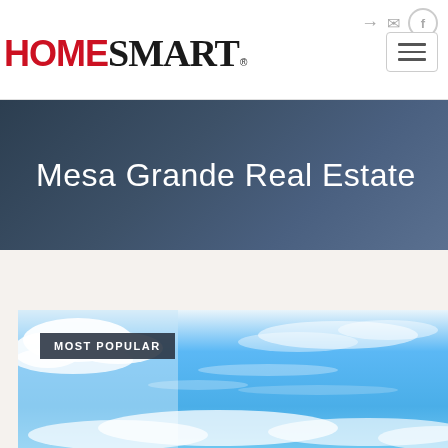[Figure (logo): HomeSmart logo with HOME in red and SMART in black serif font]
Mesa Grande Real Estate
MOST POPULAR
[Figure (photo): Blue sky with white clouds property listing photo]